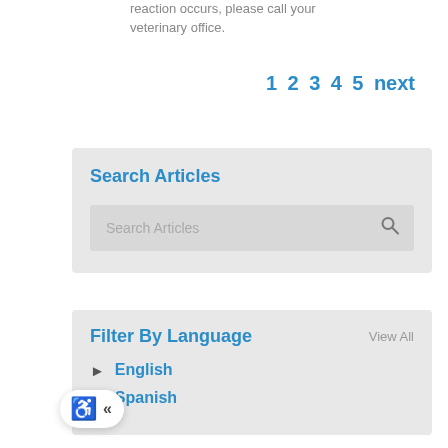reaction occurs, please call your veterinary office.
1 2 3 4 5 next
Search Articles
Search Articles
Filter By Language
View All
English
Spanish